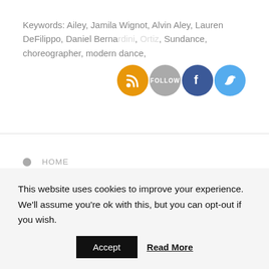Keywords: Ailey, Jamila Wignot, Alvin Aley, Lauren DeFilippo, Daniel Berna[rdini], [Ortiz], Sundance, choreographer, modern dance,
[Figure (infographic): Social sharing icons: RSS (orange circle), Follow (grey circle), Facebook (blue circle), Twitter (blue circle)]
HOME
LISTEN NOW
BECOME A HOST
NEWSLETTER (partial)
This website uses cookies to improve your experience. We'll assume you're ok with this, but you can opt-out if you wish.
Accept   Read More